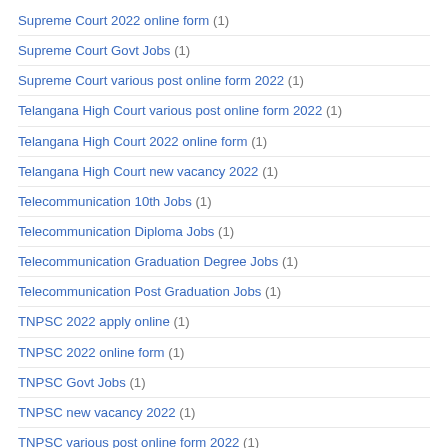Supreme Court 2022 online form (1)
Supreme Court Govt Jobs (1)
Supreme Court various post online form 2022 (1)
Telangana High Court various post online form 2022 (1)
Telangana High Court 2022 online form (1)
Telangana High Court new vacancy 2022 (1)
Telecommunication 10th Jobs (1)
Telecommunication Diploma Jobs (1)
Telecommunication Graduation Degree Jobs (1)
Telecommunication Post Graduation Jobs (1)
TNPSC 2022 apply online (1)
TNPSC 2022 online form (1)
TNPSC Govt Jobs (1)
TNPSC new vacancy 2022 (1)
TNPSC various post online form 2022 (1)
Toshiba 10th Jobs (1)